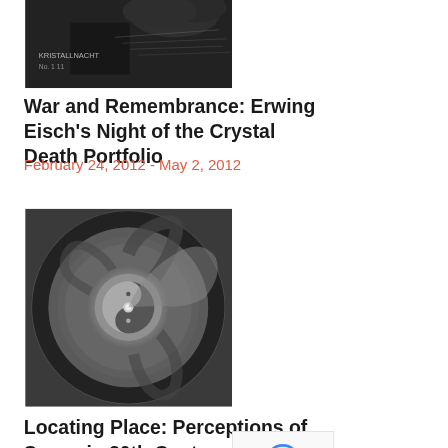[Figure (photo): Black and white photograph, appears to show war-related imagery with text overlay]
War and Remembrance: Erwing Eisch's Night of the Crystal Death Portfolio
February 24, 2012 - May 2, 2012
[Figure (photo): Black and white aerial photograph of a spiral staircase viewed from above]
Locating Place: Perceptions of Space in 20th Century Photography
March 9, 2012 - June 9, 2012